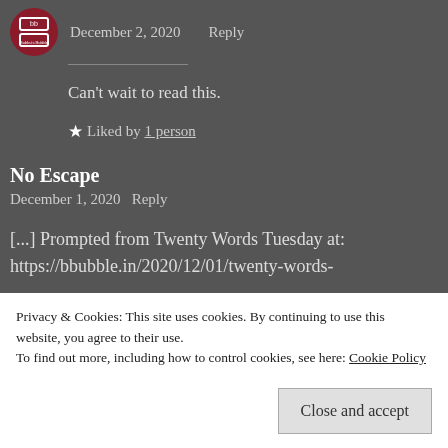December 2, 2020   Reply
Can't wait to read this.
★ Liked by 1 person
No Escape
December 1, 2020   Reply
[...] Prompted from Twenty Words Tuesday at: https://bbubble.in/2020/12/01/twenty-words-
Privacy & Cookies: This site uses cookies. By continuing to use this website, you agree to their use.
To find out more, including how to control cookies, see here: Cookie Policy